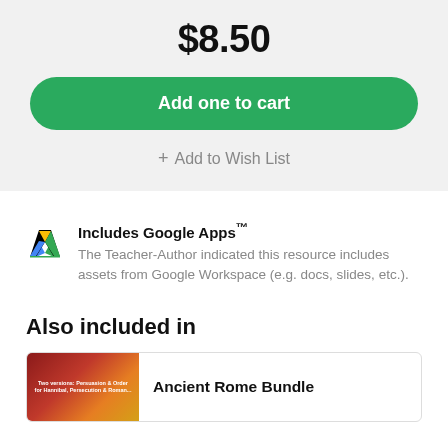$8.50
Add one to cart
+ Add to Wish List
Includes Google Apps™ The Teacher-Author indicated this resource includes assets from Google Workspace (e.g. docs, slides, etc.).
Also included in
Ancient Rome Bundle